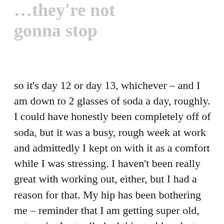…they're not gonna stop
so it's day 12 or day 13, whichever – and I am down to 2 glasses of soda a day, roughly. I could have honestly been completely off of soda, but it was a busy, rough week at work and admittedly I kept on with it as a comfort while I was stressing. I haven't been really great with working out, either, but I had a reason for that. My hip has been bothering me – reminder that I am getting super old, yet again. I actually had this problem last year, too – to the point that I started tracking the weather, my activity, etc. to try to pinpoint why it would hurt,